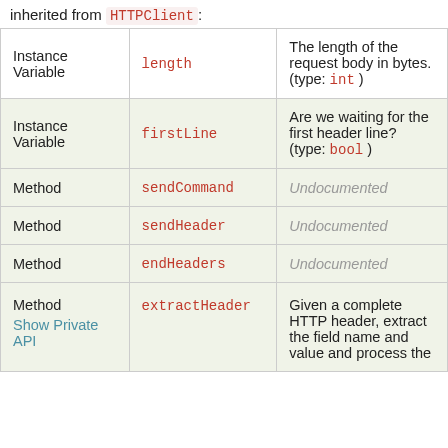inherited from HTTPClient:
|  |  |  |
| --- | --- | --- |
| Instance Variable | length | The length of the request body in bytes. (type: int ) |
| Instance Variable | firstLine | Are we waiting for the first header line? (type: bool ) |
| Method | sendCommand | Undocumented |
| Method | sendHeader | Undocumented |
| Method | endHeaders | Undocumented |
| Method | extractHeader | Given a complete HTTP header, extract the field name and value and process the |